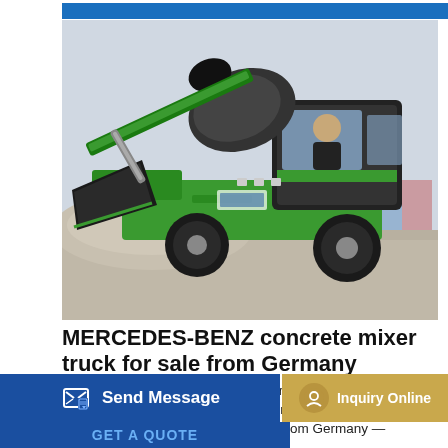[Figure (photo): Green and black concrete mixer truck / self-loading concrete mixer machine with a person in the cab, photographed outdoors on gravel/dirt ground with grey sky background]
MERCEDES-BENZ concrete mixer truck for sale from Germany
MERCEDES-BENZ concrete mixer trucks from Germany: 28 offers, search and find ads for new and used MERCEDES-BENZ concrete mixer trucks for sale from Germany —